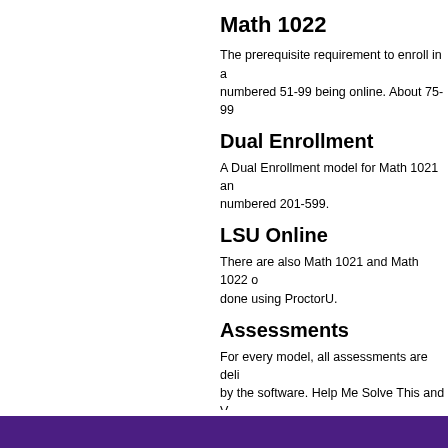Math 1022
The prerequisite requirement to enroll in a numbered 51-99 being online. About 75-99
Dual Enrollment
A Dual Enrollment model for Math 1021 an numbered 201-599.
LSU Online
There are also Math 1021 and Math 1022 o done using ProctorU.
Assessments
For every model, all assessments are deli by the software. Help Me Solve This and V accessed through the software as well. In math website for those students who wan quizzes can be attempted up to ten times
| Attachment | Size |
| --- | --- |
| Tutor Application 2_4_2021.docx | 15.12 KB |
Printable View